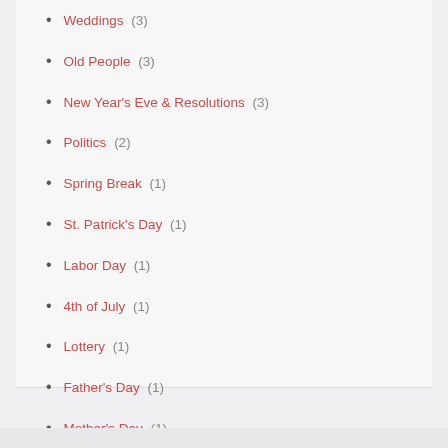Weddings (3)
Old People (3)
New Year's Eve & Resolutions (3)
Politics (2)
Spring Break (1)
St. Patrick's Day (1)
Labor Day (1)
4th of July (1)
Lottery (1)
Father's Day (1)
Mother's Day (1)